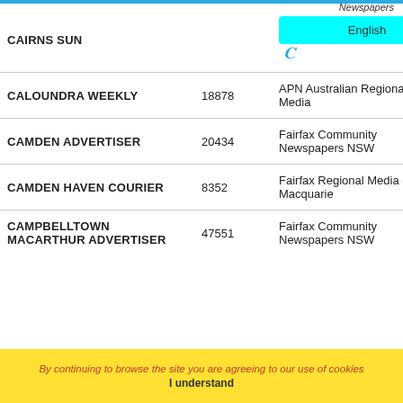Newspapers
| Publication | Circulation | Publisher |
| --- | --- | --- |
| CAIRNS SUN | English |  |
| CALOUNDRA WEEKLY | 18878 | APN Australian Regional Media |
| CAMDEN ADVERTISER | 20434 | Fairfax Community Newspapers NSW |
| CAMDEN HAVEN COURIER | 8352 | Fairfax Regional Media - Port Macquarie |
| CAMPBELLTOWN MACARTHUR ADVERTISER | 47551 | Fairfax Community Newspapers NSW |
By continuing to browse the site you are agreeing to our use of cookies  I understand